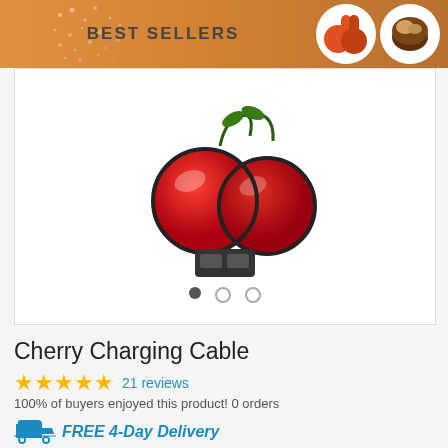BEST SELLERS
[Figure (photo): Cherry Charging Cable product photo showing a cherry-shaped USB cable connector on a white background, with carousel navigation dots below]
Cherry Charging Cable
21 reviews
100% of buyers enjoyed this product! 0 orders
FREE 4-Day Delivery
If you order within 2 hours 0 mins
Arrives by Friday, Sep 2